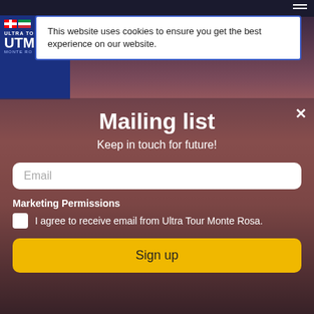[Figure (screenshot): Mountain background with pink/purple alpine tones, website UI screenshot of Ultra Tour Monte Rosa mailing list popup]
This website uses cookies to ensure you get the best experience on our website.
Mailing list
Keep in touch for future!
Email
Marketing Permissions
I agree to receive email from Ultra Tour Monte Rosa.
Sign up